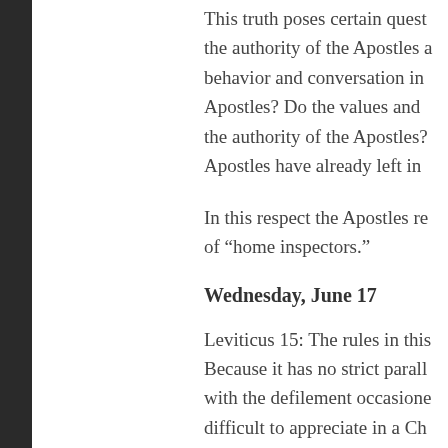This truth poses certain questions about the authority of the Apostles and the nature of behavior and conversation in Apostles? Do the values and the authority of the Apostles? Apostles have already left in
In this respect the Apostles re of "home inspectors."
Wednesday, June 17
Leviticus 15: The rules in this Because it has no strict parall with the defilement occasione difficult to appreciate in a Ch approach these rules?
He should recognize, first of a neutral. As St. Augustine reco